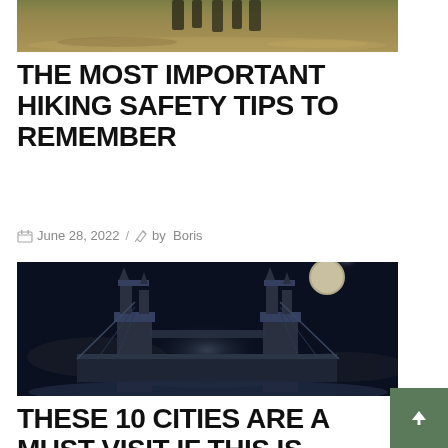[Figure (photo): Partial view of people hiking on a grassy landscape, cropped at top]
THE MOST IMPORTANT HIKING SAFETY TIPS TO REMEMBER
June 28, 2022 / by Boris
[Figure (photo): Dramatic night photograph of Tower Bridge in London with a moon visible in the dark cloudy sky]
THESE 10 CITIES ARE A MUST-VISIT IF THIS IS